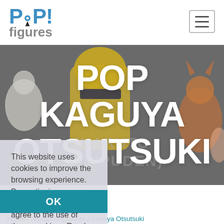[Figure (logo): POP! figures logo with blue stylized text and pin/person icon]
[Figure (illustration): Hamburger menu icon button in top right corner]
POP KAGUYA OTSUTSUKI
[Figure (illustration): Background showing Funko Pop figures (Naruto Shippuden characters) with gray overlay and watermark text (NARUTO SHIPPUDEN)]
This website uses cookies to improve the browsing experience. By continuing your browsing, you expressly agree to the use of these cookies.  Read more
OK
Home / Naruto Shippuden / Kaguya Otsutsuki